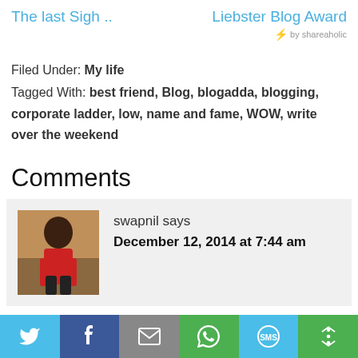The last Sigh ..   Liebster Blog Award
by shareaholic
Filed Under: My life
Tagged With: best friend, Blog, blogadda, blogging, corporate ladder, low, name and fame, WOW, write over the weekend
Comments
swapnil says
December 12, 2014 at 7:44 am
[Figure (other): User avatar photo of swapnil, person in red top standing indoors]
Twitter | Facebook | Email | WhatsApp | SMS | More share options